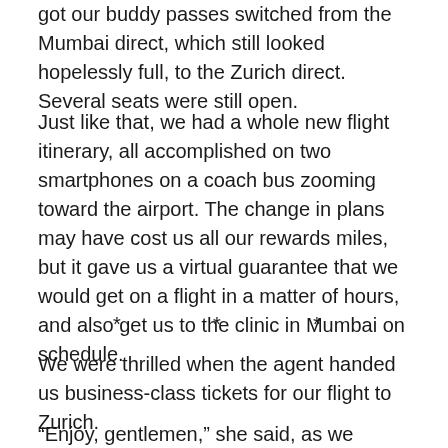got our buddy passes switched from the Mumbai direct, which still looked hopelessly full, to the Zurich direct. Several seats were still open.
Just like that, we had a whole new flight itinerary, all accomplished on two smartphones on a coach bus zooming toward the airport. The change in plans may have cost us all our rewards miles, but it gave us a virtual guarantee that we would get on a flight in a matter of hours, and also get us to the clinic in Mumbai on schedule.
* * *
We were thrilled when the agent handed us business-class tickets for our flight to Zurich.
“Enjoy, gentlemen,” she said, as we headed off to board our flight.